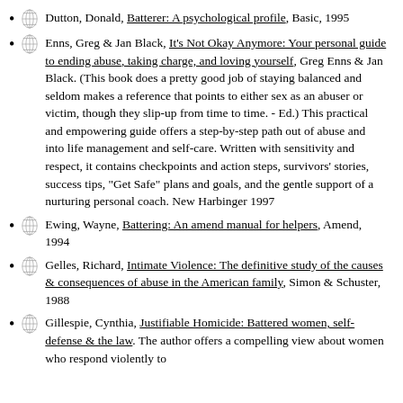Dutton, Donald, Batterer: A psychological profile, Basic, 1995
Enns, Greg & Jan Black, It's Not Okay Anymore: Your personal guide to ending abuse, taking charge, and loving yourself, Greg Enns & Jan Black. (This book does a pretty good job of staying balanced and seldom makes a reference that points to either sex as an abuser or victim, though they slip-up from time to time. - Ed.) This practical and empowering guide offers a step-by-step path out of abuse and into life management and self-care. Written with sensitivity and respect, it contains checkpoints and action steps, survivors' stories, success tips, "Get Safe" plans and goals, and the gentle support of a nurturing personal coach. New Harbinger 1997
Ewing, Wayne, Battering: An amend manual for helpers, Amend, 1994
Gelles, Richard, Intimate Violence: The definitive study of the causes & consequences of abuse in the American family, Simon & Schuster, 1988
Gillespie, Cynthia, Justifiable Homicide: Battered women, self-defense & the law. The author offers a compelling view about women who respond violently to...